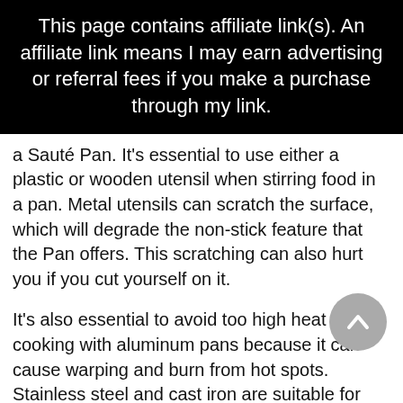This page contains affiliate link(s). An affiliate link means I may earn advertising or referral fees if you make a purchase through my link.
a Sauté Pan. It's essential to use either a plastic or wooden utensil when stirring food in a pan. Metal utensils can scratch the surface, which will degrade the non-stick feature that the Pan offers. This scratching can also hurt you if you cut yourself on it.
It's also essential to avoid too high heat when cooking with aluminum pans because it can cause warping and burn from hot spots. Stainless steel and cast iron are suitable for cooking with medium or high heat, so they won't warp or burn your food.
Size
Stainless steel and cast-iron pans come in various sizes, but generally speaking, you can find a frypan in any size from 2